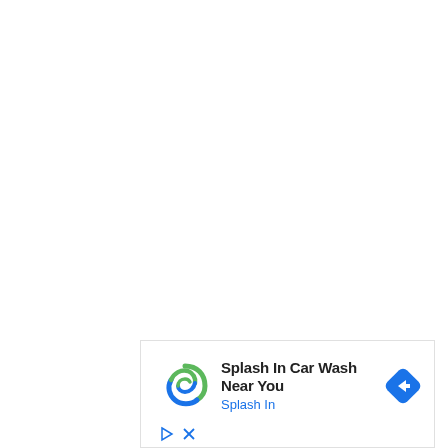[Figure (other): Advertisement banner for 'Splash In Car Wash Near You' with Splash In logo (swirling blue and green spiral), navigation diamond icon in blue, and control icons (play triangle and X close button) at bottom left]